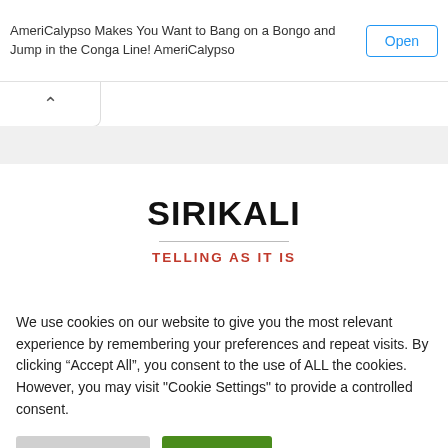AmeriCalypso Makes You Want to Bang on a Bongo and Jump in the Conga Line! AmeriCalypso
Open
[Figure (other): Collapse/chevron up button]
SIRIKALI
TELLING AS IT IS
We use cookies on our website to give you the most relevant experience by remembering your preferences and repeat visits. By clicking “Accept All”, you consent to the use of ALL the cookies. However, you may visit "Cookie Settings" to provide a controlled consent.
Cookie Settings
Accept All